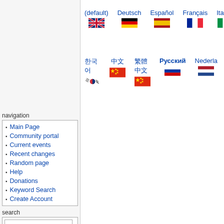[Figure (infographic): Language selection panel showing flags and language names for: (default) English, Deutsch, Español, Français, Italian (top row); and Korean, Chinese, Chinese, Русский, Nederlands (second row)]
navigation
Main Page
Community portal
Current events
Recent changes
Random page
Help
Donations
Keyword Search
Create Account
search